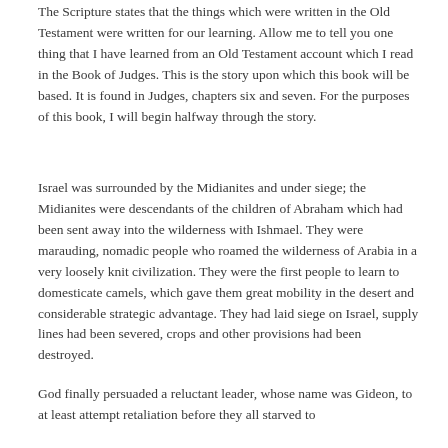The Scripture states that the things which were written in the Old Testament were written for our learning. Allow me to tell you one thing that I have learned from an Old Testament account which I read in the Book of Judges. This is the story upon which this book will be based. It is found in Judges, chapters six and seven. For the purposes of this book, I will begin halfway through the story.
Israel was surrounded by the Midianites and under siege; the Midianites were descendants of the children of Abraham which had been sent away into the wilderness with Ishmael. They were marauding, nomadic people who roamed the wilderness of Arabia in a very loosely knit civilization. They were the first people to learn to domesticate camels, which gave them great mobility in the desert and considerable strategic advantage. They had laid siege on Israel, supply lines had been severed, crops and other provisions had been destroyed.
God finally persuaded a reluctant leader, whose name was Gideon, to at least attempt retaliation before they all starved to